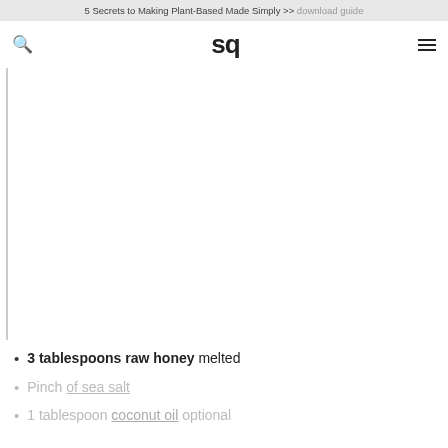5 Secrets to Making Plant-Based Made Simply >> download guide
sq
[Figure (photo): Large white/blank image area with left border, likely a food photo placeholder]
3 tablespoons raw honey melted
Pinch of sea salt
1 tablespoon coconut oil optional